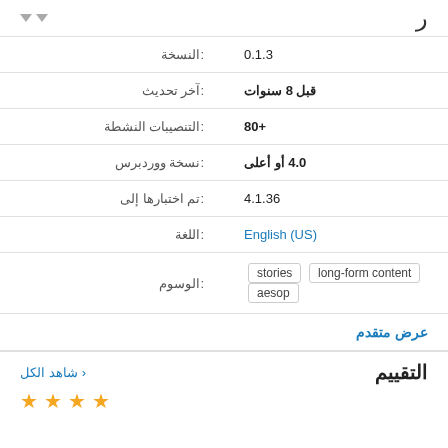| القيمة | الصفة |
| --- | --- |
| 0.1.3 | النسخة: |
| قبل 8 سنوات | آخر تحديث: |
| +80 | التنصيبات النشطة: |
| 4.0 أو أعلى | نسخة ووردبرس: |
| 4.1.36 | تم اختبارها إلى: |
| English (US) | اللغة: |
| stories   long-form content   aesop | الوسوم: |
عرض متقدم
التقييم
شاهد الكل